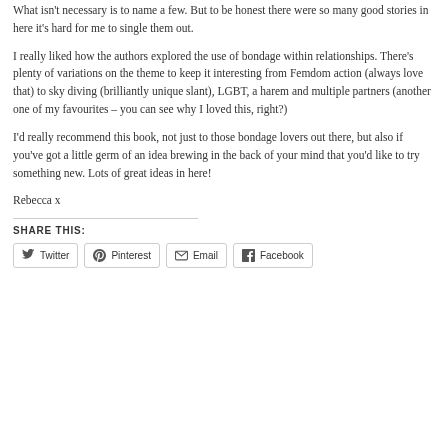What isn't necessary is to name a few. But to be honest there were so many good stories in here it's hard for me to single them out.
I really liked how the authors explored the use of bondage within relationships. There's plenty of variations on the theme to keep it interesting from Femdom action (always love that) to sky diving (brilliantly unique slant), LGBT, a harem and multiple partners (another one of my favourites – you can see why I loved this, right?)
I'd really recommend this book, not just to those bondage lovers out there, but also if you've got a little germ of an idea brewing in the back of your mind that you'd like to try something new. Lots of great ideas in here!
Rebecca x
SHARE THIS:
Twitter  Pinterest  Email  Facebook